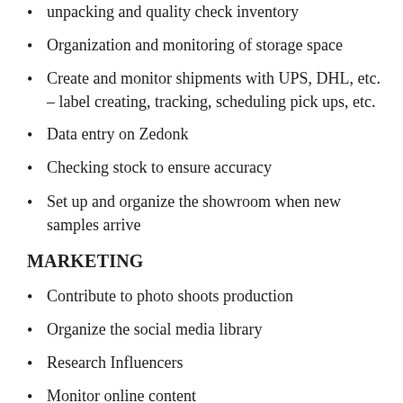unpacking and quality check inventory
Organization and monitoring of storage space
Create and monitor shipments with UPS, DHL, etc. – label creating, tracking, scheduling pick ups, etc.
Data entry on Zedonk
Checking stock to ensure accuracy
Set up and organize the showroom when new samples arrive
MARKETING
Contribute to photo shoots production
Organize the social media library
Research Influencers
Monitor online content
Update sample tracker